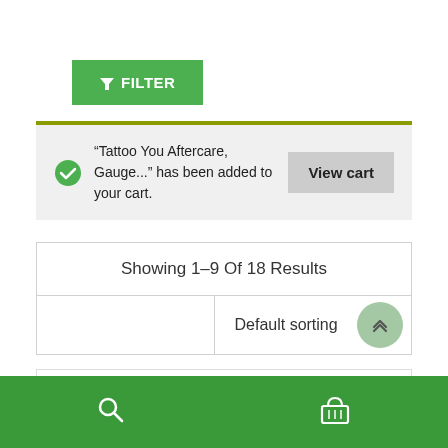[Figure (screenshot): Filter button with green background and funnel icon, labeled FILTER]
"Tattoo You Aftercare, Gauge..." has been added to your cart.
View cart
Showing 1–9 Of 18 Results
Default sorting
[Figure (screenshot): Partial bottom content area with bar chart icon on right]
[Figure (screenshot): Green bottom navigation bar with search icon and shopping cart icon]